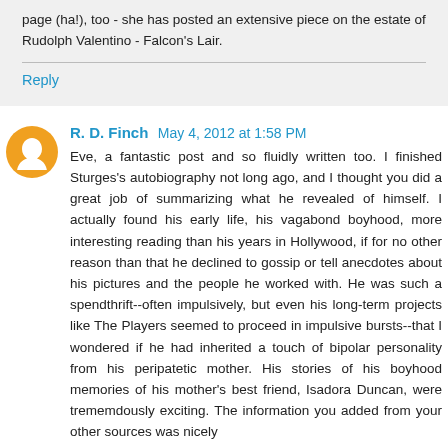page (ha!), too - she has posted an extensive piece on the estate of Rudolph Valentino - Falcon's Lair.
Reply
R. D. Finch  May 4, 2012 at 1:58 PM
Eve, a fantastic post and so fluidly written too. I finished Sturges's autobiography not long ago, and I thought you did a great job of summarizing what he revealed of himself. I actually found his early life, his vagabond boyhood, more interesting reading than his years in Hollywood, if for no other reason than that he declined to gossip or tell anecdotes about his pictures and the people he worked with. He was such a spendthrift--often impulsively, but even his long-term projects like The Players seemed to proceed in impulsive bursts--that I wondered if he had inherited a touch of bipolar personality from his peripatetic mother. His stories of his boyhood memories of his mother's best friend, Isadora Duncan, were trememdously exciting. The information you added from your other sources was nicely